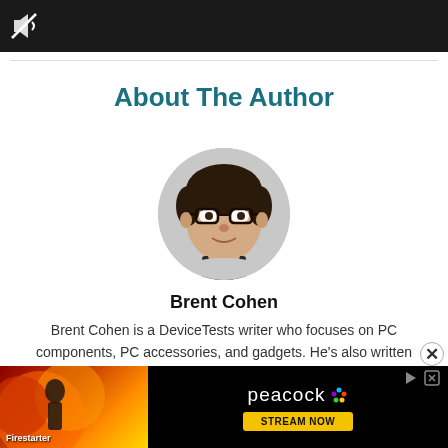[Figure (screenshot): Dark banner image at the top, with a muted/unmuted speaker icon visible in upper left corner]
About The Author
[Figure (photo): Circular portrait photo of Brent Cohen, a man with dark hair wearing glasses, against a light grey background]
Brent Cohen
Brent Cohen is a DeviceTests writer who focuses on PC components, PC accessories, and gadgets. He's also written for several other publications
[Figure (screenshot): Peacock advertisement banner at the bottom showing Firestarter movie art on left and 'peacock STREAM NOW' on right with yellow button]